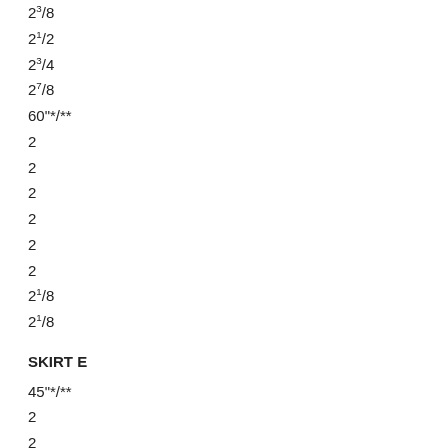2³/8
2¹/2
2³/4
2⁷/8
60"*/**
2
2
2
2
2
2
2¹/8
2¹/8
SKIRT E
45"*/**
2
2